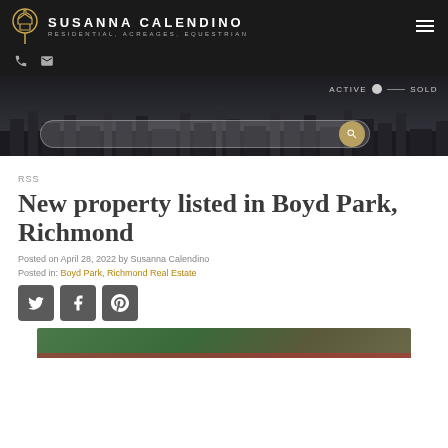SUSANNA CALENDINO — RESIDENTIAL, ACREAGES, EQUESTRIAN
[Figure (screenshot): Navigation bar with logo, hamburger menu, phone and email icons]
[Figure (screenshot): Hero section with city skyline, search bar, ACTIVE and SOLD toggle]
RSS
New property listed in Boyd Park, Richmond
Posted on April 28, 2022 by Susanna Calendino
Posted in: Boyd Park, Richmond Real Estate
[Figure (illustration): Social sharing buttons for Twitter, Facebook, and Pinterest]
[Figure (photo): Property photo thumbnail at the bottom]